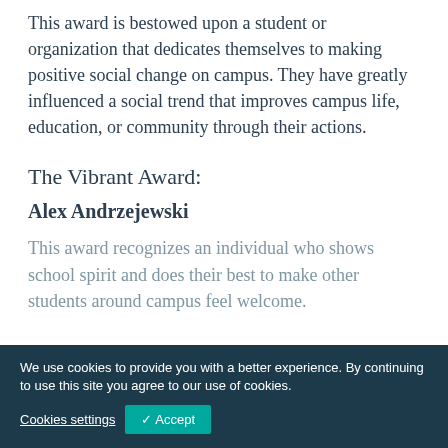This award is bestowed upon a student or organization that dedicates themselves to making positive social change on campus. They have greatly influenced a social trend that improves campus life, education, or community through their actions.
The Vibrant Award:
Alex Andrzejewski
This award recognizes an individual who shows... school spirit and does their best to make other students around campus feel welcome.
We use cookies to provide you with a better experience. By continuing to use this site you agree to our use of cookies.